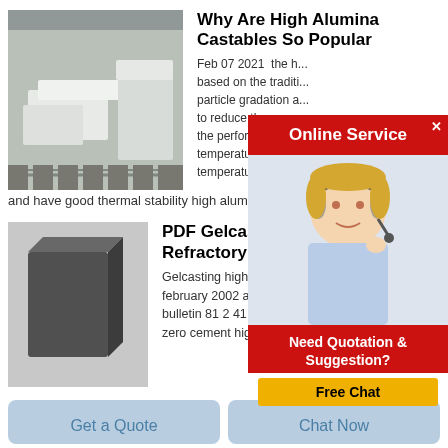[Figure (photo): Industrial high alumina castables / white refractory blocks in a warehouse setting]
Why Are High Alumina Castables So Popular
Feb 07 2021  the h... based on the traditi... particle gradation a... to reduce the amou... the performance im... temperature streng... temperature reduce...
and have good thermal stability high alumina castables
[Figure (photo): Online Service popup with agent photo and Free Chat button]
[Figure (photo): Dark grey refractory castable block]
PDF Gelcasting Refractory Castables
Gelcasting high alumina refractory castables february 2002 american ceramic society bulletin 81 2 41 thermomechanical behavior of zero cement high alumina castables article full